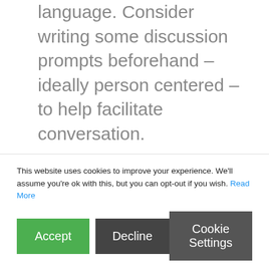language. Consider writing some discussion prompts beforehand – ideally person centered – to help facilitate conversation. Create a Virtual Lounge. You could open up slots for family members or friends to book to speak with their relatives via platforms such as Zoom, Skype, FaceTime and Whatsapp. How about creating a virtual visiting lounge
This website uses cookies to improve your experience. We'll assume you're ok with this, but you can opt-out if you wish. Read More